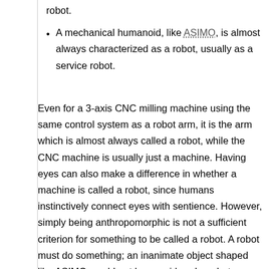robot.
A mechanical humanoid, like ASIMO, is almost always characterized as a robot, usually as a service robot.
Even for a 3-axis CNC milling machine using the same control system as a robot arm, it is the arm which is almost always called a robot, while the CNC machine is usually just a machine. Having eyes can also make a difference in whether a machine is called a robot, since humans instinctively connect eyes with sentience. However, simply being anthropomorphic is not a sufficient criterion for something to be called a robot. A robot must do something; an inanimate object shaped like ASIMO would not be considered a robot.